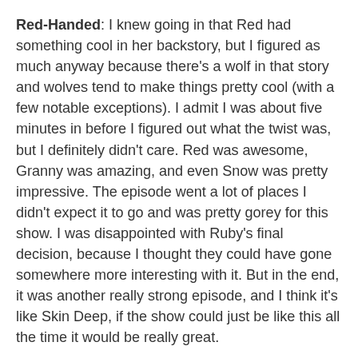Red-Handed: I knew going in that Red had something cool in her backstory, but I figured as much anyway because there's a wolf in that story and wolves tend to make things pretty cool (with a few notable exceptions). I admit I was about five minutes in before I figured out what the twist was, but I definitely didn't care. Red was awesome, Granny was amazing, and even Snow was pretty impressive. The episode went a lot of places I didn't expect it to go and was pretty gorey for this show. I was disappointed with Ruby's final decision, because I thought they could have gone somewhere more interesting with it. But in the end, it was another really strong episode, and I think it's like Skin Deep, if the show could just be like this all the time it would be really great.
Part Three Overview: This is when the show really won me over into being a fan, instead of being on the fence. But it was because of episodes like Skin Deep and Red-Handed. The side characters were starting to really make a difference and make me love them, but I still don't care about Regina and I still think that the art direction for The Enchanted Forest is designed to keep me from taking the show